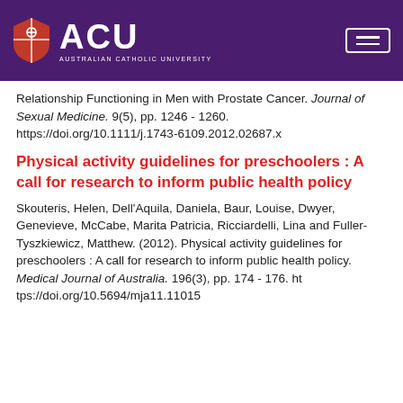[Figure (logo): Australian Catholic University (ACU) logo with purple header background, white shield icon, ACU text, and hamburger menu button on the right]
Relationship Functioning in Men with Prostate Cancer. Journal of Sexual Medicine. 9(5), pp. 1246 - 1260. https://doi.org/10.1111/j.1743-6109.2012.02687.x
Physical activity guidelines for preschoolers : A call for research to inform public health policy
Skouteris, Helen, Dell'Aquila, Daniela, Baur, Louise, Dwyer, Genevieve, McCabe, Marita Patricia, Ricciardelli, Lina and Fuller-Tyszkiewicz, Matthew. (2012). Physical activity guidelines for preschoolers : A call for research to inform public health policy. Medical Journal of Australia. 196(3), pp. 174 - 176. https://doi.org/10.5694/mja11.11015